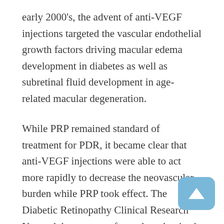early 2000's, the advent of anti-VEGF injections targeted the vascular endothelial growth factors driving macular edema development in diabetes as well as subretinal fluid development in age-related macular degeneration.
While PRP remained standard of treatment for PDR, it became clear that anti-VEGF injections were able to act more rapidly to decrease the neovascular burden while PRP took effect. The Diabetic Retinopathy Clinical Research Network has even performed randomized control trials (i.e., DRCR Protocol S) demonstrating that anti-VEGF injections alone may be adequate for treatment of PDR in compliant patients who are able to maintain close follow-up.